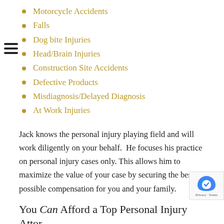Motorcycle Accidents
Falls
Dog bite Injuries
Head/Brain Injuries
Construction Site Accidents
Defective Products
Misdiagnosis/Delayed Diagnosis
At Work Injuries
Jack knows the personal injury playing field and will work diligently on your behalf.  He focuses his practice on personal injury cases only. This allows him to maximize the value of your case by securing the best possible compensation for you and your family.
You Can Afford a Top Personal Injury Attorney for Your Danville Accident Claim